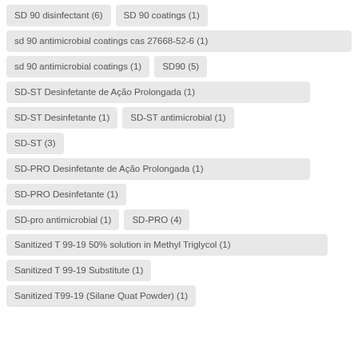SD 90 disinfectant (6)
SD 90 coatings (1)
sd 90 antimicrobial coatings cas 27668-52-6 (1)
sd 90 antimicrobial coatings (1)
SD90 (5)
SD-ST Desinfetante de Ação Prolongada (1)
SD-ST Desinfetante (1)
SD-ST antimicrobial (1)
SD-ST (3)
SD-PRO Desinfetante de Ação Prolongada (1)
SD-PRO Desinfetante (1)
SD-pro antimicrobial (1)
SD-PRO (4)
Sanitized T 99-19 50% solution in Methyl Triglycol (1)
Sanitized T 99-19 Substitute (1)
Sanitized T99-19 (Silane Quat Powder) (1)